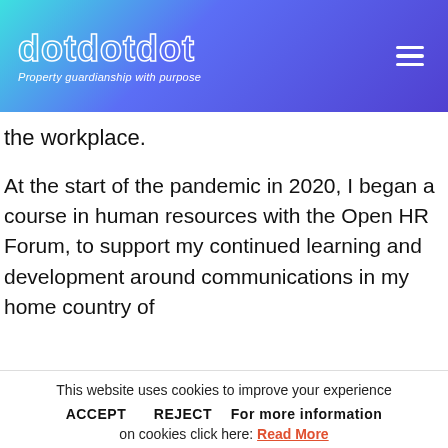dotdotdot — Property guardianship with purpose
the workplace.
At the start of the pandemic in 2020, I began a course in human resources with the Open HR Forum, to support my continued learning and development around communications in my home country of
This website uses cookies to improve your experience
ACCEPT   REJECT   For more information on cookies click here: Read More